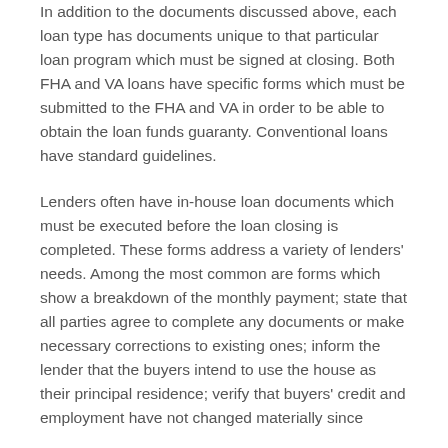In addition to the documents discussed above, each loan type has documents unique to that particular loan program which must be signed at closing. Both FHA and VA loans have specific forms which must be submitted to the FHA and VA in order to be able to obtain the loan funds guaranty. Conventional loans have standard guidelines.
Lenders often have in-house loan documents which must be executed before the loan closing is completed. These forms address a variety of lenders' needs. Among the most common are forms which show a breakdown of the monthly payment; state that all parties agree to complete any documents or make necessary corrections to existing ones; inform the lender that the buyers intend to use the house as their principal residence; verify that buyers' credit and employment have not changed materially since